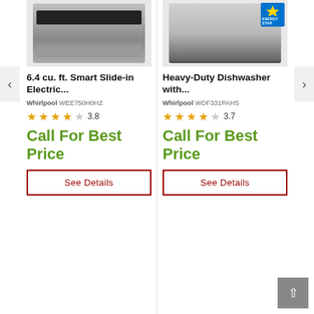[Figure (screenshot): Product listing page showing two Whirlpool appliances side by side with images, titles, model numbers, star ratings, prices, and See Details buttons.]
6.4 cu. ft. Smart Slide-in Electric...
Whirlpool WEE750H0HZ
3.8
Call For Best Price
See Details
Heavy-Duty Dishwasher with...
Whirlpool WDF331PAHS
3.7
Call For Best Price
See Details